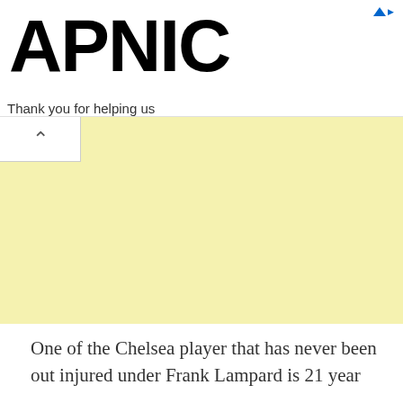APNIC — Thank you for helping us measure the Internet.
[Figure (screenshot): APNIC logo and ad banner with yellow background area and collapse button]
One of the Chelsea player that has never been out injured under Frank Lampard is 21 year